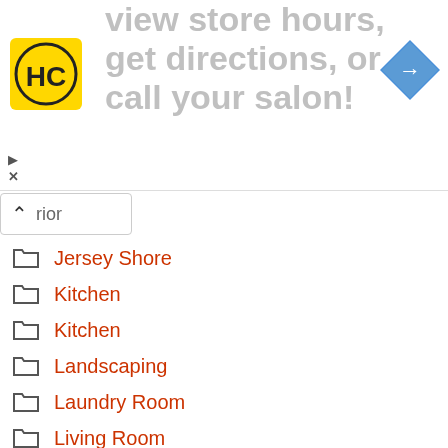[Figure (screenshot): Advertisement banner with HC logo, text 'view store hours, get directions, or call your salon!' and a blue navigation arrow icon]
rior
Jersey Shore
Kitchen
Kitchen
Landscaping
Laundry Room
Living Room
One Room
Outdoor
Patio
Patio